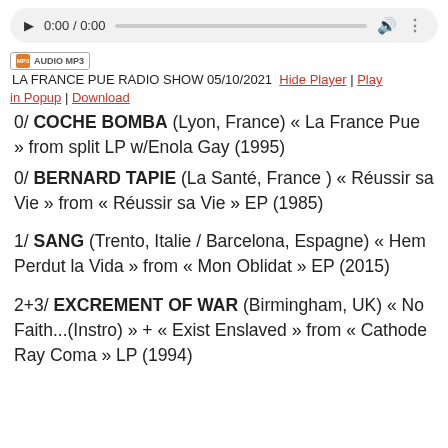[Figure (other): Audio player UI with play button, time display 0:00 / 0:00, progress bar, volume icon, and more options icon on a grey rounded rectangle background.]
AUDIO MP3 LA FRANCE PUE RADIO SHOW 05/10/2021  Hide Player | Play in Popup | Download
0/ COCHE BOMBA (Lyon, France) « La France Pue » from split LP w/Enola Gay (1995)
0/ BERNARD TAPIE (La Santé, France ) « Réussir sa Vie » from « Réussir sa Vie » EP (1985)
1/ SANG (Trento, Italie / Barcelona, Espagne) « Hem Perdut la Vida » from « Mon Oblidat » EP (2015)
2+3/ EXCREMENT OF WAR (Birmingham, UK) « No Faith...(Instro) » + « Exist Enslaved » from « Cathode Ray Coma » LP (1994)